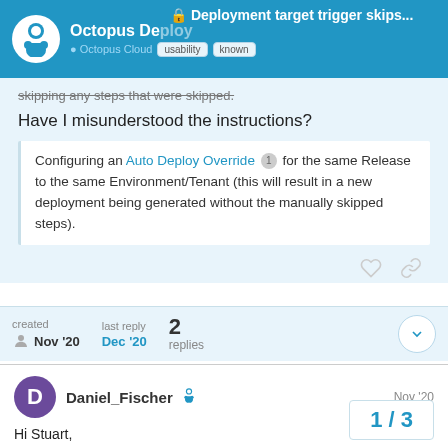Deployment target trigger skips... | Octopus Deploy | Octopus Cloud | usability | known
skipping any steps that were skipped.
Have I misunderstood the instructions?
Configuring an Auto Deploy Override [1] for the same Release to the same Environment/Tenant (this will result in a new deployment being generated without the manually skipped steps).
created Nov '20   last reply Dec '20   2 replies
Daniel_Fischer   Nov '20
Hi Stuart,
1 / 3